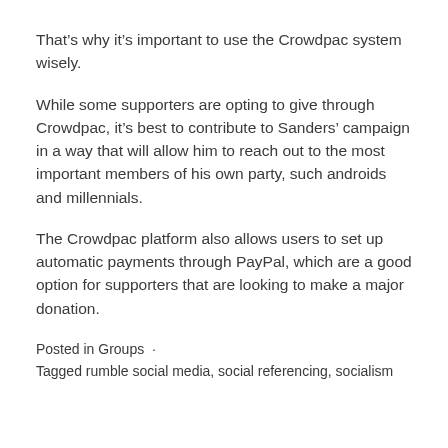That’s why it’s important to use the Crowdpac system wisely.
While some supporters are opting to give through Crowdpac, it’s best to contribute to Sanders’ campaign in a way that will allow him to reach out to the most important members of his own party, such androids and millennials.
The Crowdpac platform also allows users to set up automatic payments through PayPal, which are a good option for supporters that are looking to make a major donation.
Posted in Groups  ·
Tagged rumble social media, social referencing, socialism